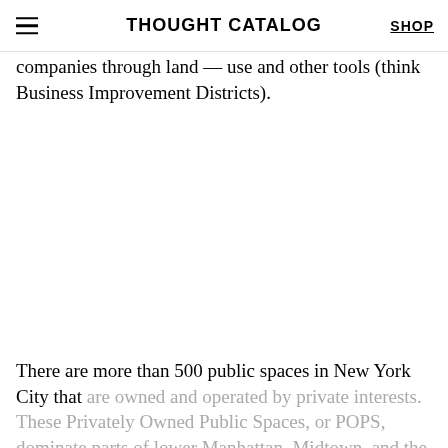THOUGHT CATALOG | SHOP
companies through land — use and other tools (think Business Improvement Districts).
There are more than 500 public spaces in New York City that are owned and operated by private interests. These Privately Owned Public Spaces, or POPS, dominate parts of lower Manhattan, Midtown, and the East Side below 10th street